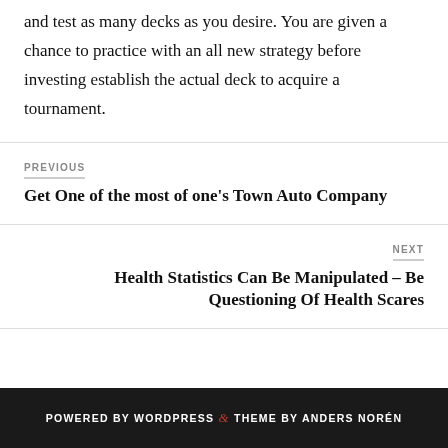and test as many decks as you desire. You are given a chance to practice with an all new strategy before investing establish the actual deck to acquire a tournament.
PREVIOUS
Get One of the most of one’s Town Auto Company
NEXT
Health Statistics Can Be Manipulated – Be Questioning Of Health Scares
POWERED BY WORDPRESS & THEME BY ANDERS NORÉN